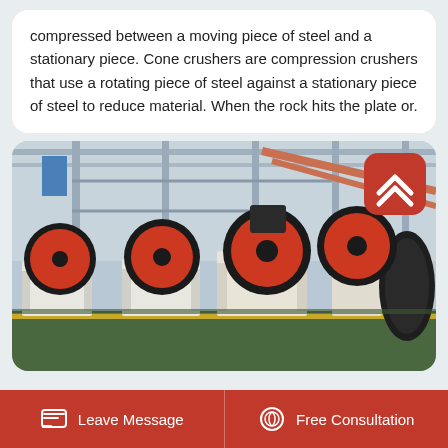compressed between a moving piece of steel and a stationary piece. Cone crushers are compression crushers that use a rotating piece of steel against a stationary piece of steel to reduce material. When the rock hits the plate or.
[Figure (photo): Industrial factory floor showing multiple jaw crusher machines with large red and black flywheels, white body frames, arranged in a row inside a large manufacturing facility with steel scaffolding and overhead cranes visible.]
Leave Message
Free Consultation